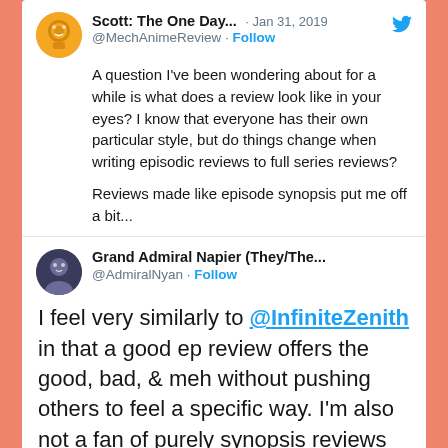Scott: The One Day... · Jan 31, 2019 @MechAnimeReview · Follow
A question I've been wondering about for a while is what does a review look like in your eyes? I know that everyone has their own particular style, but do things change when writing episodic reviews to full series reviews?

Reviews made like episode synopsis put me off a bit...
Grand Admiral Napier (They/The... @AdmiralNyan · Follow
I feel very similarly to @InfiniteZenith in that a good ep review offers the good, bad, & meh without pushing others to feel a specific way. I'm also not a fan of purely synopsis reviews because that doesn't feel so much like a